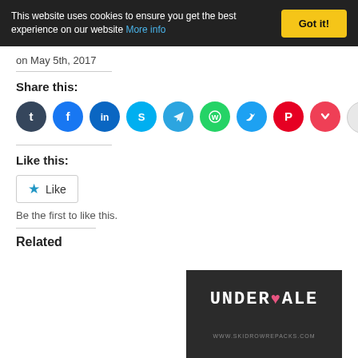This website uses cookies to ensure you get the best experience on our website More info | Got it!
on May 5th, 2017
Share this:
[Figure (other): Row of social media sharing icon circles: Tumblr (dark blue), Facebook (blue), LinkedIn (blue), Skype (cyan), Telegram (blue), WhatsApp (green), Twitter (blue), Pinterest (red), Pocket (red), Reddit (light gray)]
Like this:
Like
Be the first to like this.
Related
[Figure (other): Undertale game logo on dark background with www.skidrowrepacks.com watermark at bottom]